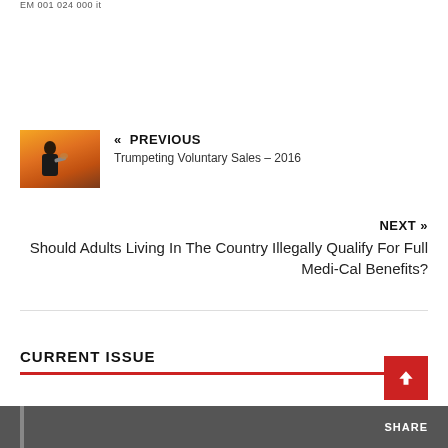« PREVIOUS — Trumpeting Voluntary Sales – 2016
NEXT »
Should Adults Living In The Country Illegally Qualify For Full Medi-Cal Benefits?
CURRENT ISSUE
[Figure (other): Dark grey bar with 'SHARE' text at bottom of page]